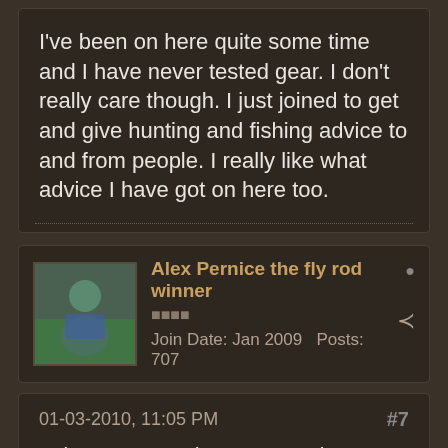I've been on here quite some time and I have never tested gear. I don't really care though. I just joined to get and give hunting and fishing advice to and from people. I really like what advice I have got on here too.
Alex Pernice the fly rod winner
■■■■
Join Date: Jan 2009   Posts: 707
01-03-2010, 11:05 PM    #7
It doesn't matter how many points you have, its how good your posts are. Either way, who cares? If you want gear that badly, go buy it. (Aren't you the one that won the G Loomis from Kirk Deeter?)